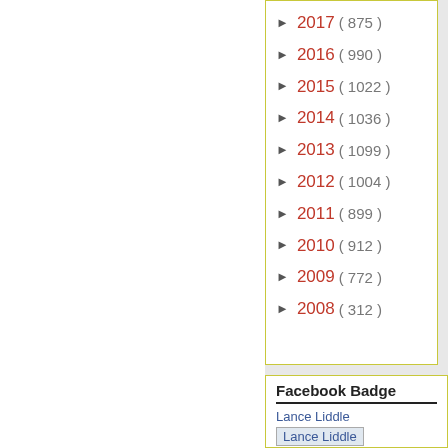► 2017 ( 875 )
► 2016 ( 990 )
► 2015 ( 1022 )
► 2014 ( 1036 )
► 2013 ( 1099 )
► 2012 ( 1004 )
► 2011 ( 899 )
► 2010 ( 912 )
► 2009 ( 772 )
► 2008 ( 312 )
Facebook Badge
Lance Liddle
[Figure (other): Lance Liddle Facebook badge image placeholder]
Create your badge